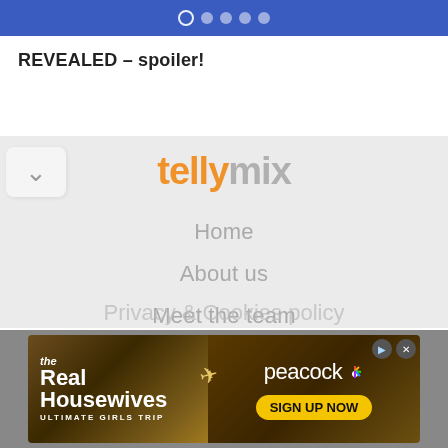REVEALED - spoiler!
[Figure (screenshot): TellyMix website navigation menu overlay showing logo and menu items: Home, About us, Meet the team, Contact, Privacy & Cookies policy (partially visible)]
[Figure (illustration): Advertisement banner for The Real Housewives Ultimate Girls Trip on Peacock with Sign Up Now button]